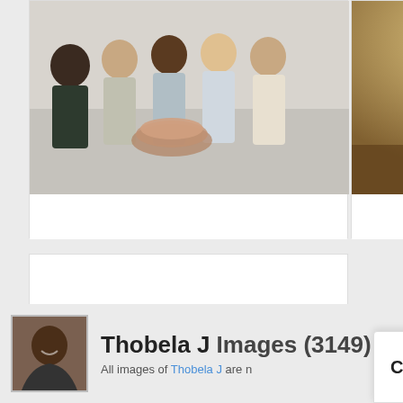[Figure (photo): Group of five diverse business people stacking hands together in a team gesture, wearing business casual attire]
[Figure (photo): Man and woman at a formal dinner party clinking champagne glasses, warm lighting]
[Figure (other): See All card with text 'See All' and arrow, and subtext 'See more Images']
Thobela J Images (3149)
All images of Thobela J are n
Chat now